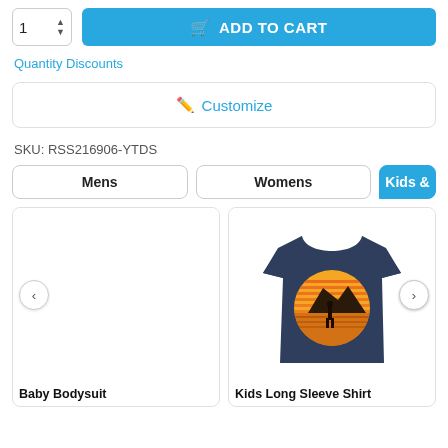[Figure (screenshot): E-commerce product page showing quantity selector, Add to Cart button, Quantity Discounts link, Customize button, SKU, category tabs (Mens, Womens, Kids &), and two product cards (Baby Bodysuit and Kids Long Sleeve Shirt)]